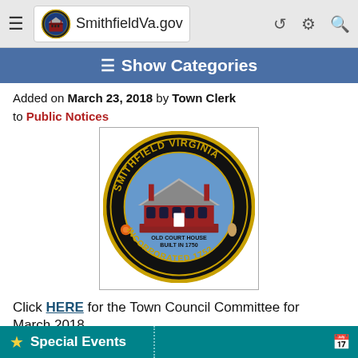[Figure (screenshot): Browser chrome bar with hamburger menu, Smithfield Virginia seal, SmithfieldVa.gov URL, share icon, settings icon, and search icon]
≡ Show Categories
Added on March 23, 2018 by Town Clerk
to Public Notices
[Figure (logo): Smithfield Virginia official seal - circular seal with black background, gold text reading SMITHFIELD VIRGINIA around the top and INCORPORATED 1752 around the bottom, featuring the Old Court House Built in 1750 in the center]
Click HERE for the Town Council Committee for March 2018
★ Special Events